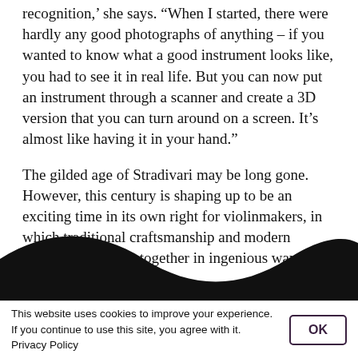recognition,' she says. 'When I started, there were hardly any good photographs of anything – if you wanted to know what a good instrument looks like, you had to see it in real life. But you can now put an instrument through a scanner and create a 3D version that you can turn around on a screen. It's almost like having it in your hand.'
The gilded age of Stradivari may be long gone. However, this century is shaping up to be an exciting time in its own right for violinmakers, in which traditional craftsmanship and modern technologies come together in ingenious ways.
[Figure (illustration): A black wavy decorative band across the bottom of the content area, forming a wave shape against white background.]
This website uses cookies to improve your experience. If you continue to use this site, you agree with it. Privacy Policy   OK